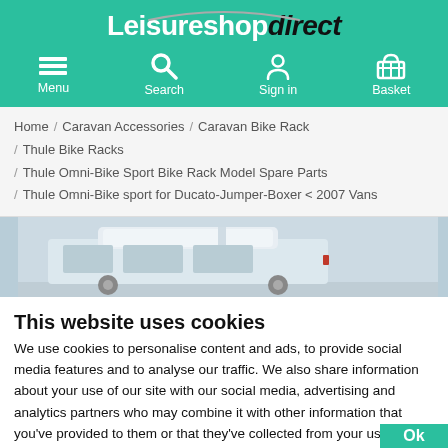Leisureshop direct
Menu  Search  Sign in  Basket
Home / Caravan Accessories / Caravan Bike Rack / Thule Bike Racks / Thule Omni-Bike Sport Bike Rack Model Spare Parts / Thule Omni-Bike sport for Ducato-Jumper-Boxer < 2007 Vans
[Figure (photo): Partial product image showing a van or caravan with bike rack equipment]
This website uses cookies
We use cookies to personalise content and ads, to provide social media features and to analyse our traffic. We also share information about your use of our site with our social media, advertising and analytics partners who may combine it with other information that you've provided to them or that they've collected from your use of their services. You consent to our cookies if you continue to use our website.